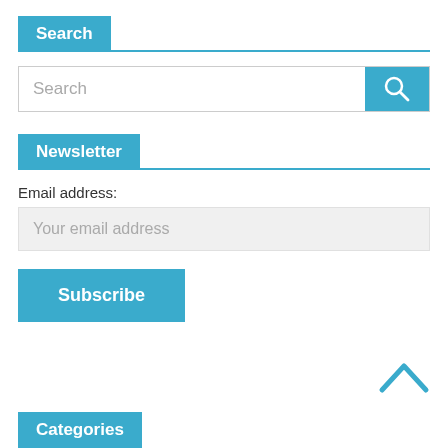Search
[Figure (screenshot): Search input box with a blue search button containing a magnifying glass icon]
Newsletter
Email address:
[Figure (screenshot): Email address input field with placeholder 'Your email address']
[Figure (screenshot): Blue Subscribe button]
[Figure (illustration): Blue chevron/caret pointing upward (scroll to top arrow)]
Categories